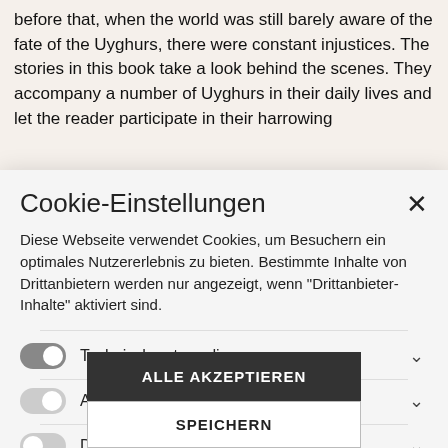before that, when the world was still barely aware of the fate of the Uyghurs, there were constant injustices. The stories in this book take a look behind the scenes. They accompany a number of Uyghurs in their daily lives and let the reader participate in their harrowing
Cookie-Einstellungen
Diese Webseite verwendet Cookies, um Besuchern ein optimales Nutzererlebnis zu bieten. Bestimmte Inhalte von Drittanbietern werden nur angezeigt, wenn "Drittanbieter-Inhalte" aktiviert sind.
Technisch notwendige
Analytische
Drittanbieter-Inhalte
ALLE AKZEPTIEREN
SPEICHERN